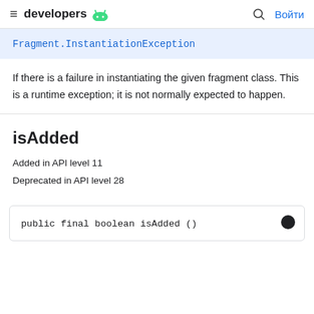≡ developers 🤖   🔍 Войти
Fragment.InstantiationException
If there is a failure in instantiating the given fragment class. This is a runtime exception; it is not normally expected to happen.
isAdded
Added in API level 11
Deprecated in API level 28
public final boolean isAdded ()